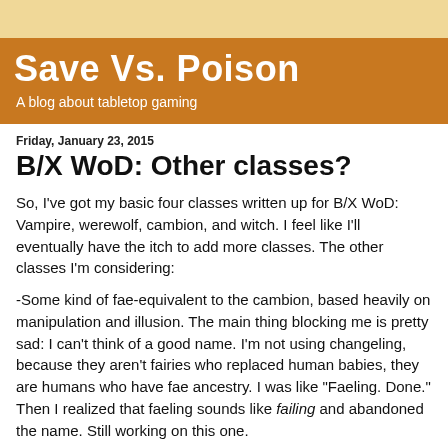Save Vs. Poison
A blog about tabletop gaming
Friday, January 23, 2015
B/X WoD: Other classes?
So, I've got my basic four classes written up for B/X WoD: Vampire, werewolf, cambion, and witch. I feel like I'll eventually have the itch to add more classes. The other classes I'm considering:
-Some kind of fae-equivalent to the cambion, based heavily on manipulation and illusion. The main thing blocking me is pretty sad: I can't think of a good name. I'm not using changeling, because they aren't fairies who replaced human babies, they are humans who have fae ancestry. I was like "Faeling. Done." Then I realized that faeling sounds like failing and abandoned the name. Still working on this one.